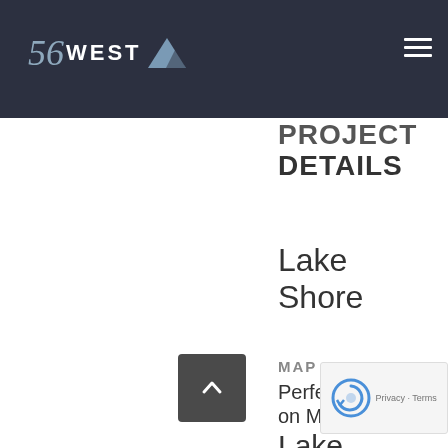56 WEST
PROJECT DETAILS
Lake Shore
MAP
Perfect on My Lake